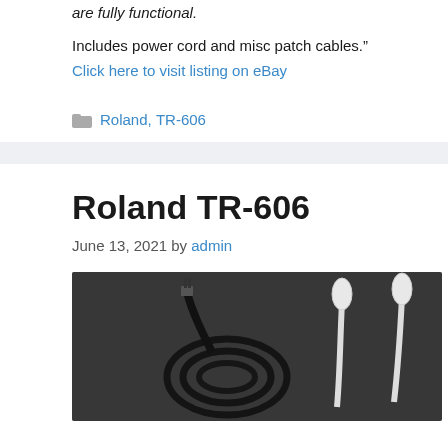are fully functional.
Includes power cord and misc patch cables."
Click here to visit listing on eBay
Roland, TR-606
Roland TR-606
June 13, 2021 by admin
[Figure (photo): Photo of cables and connectors on a dark grey fabric surface. Two white-tipped cables and a coiled black cable are visible.]